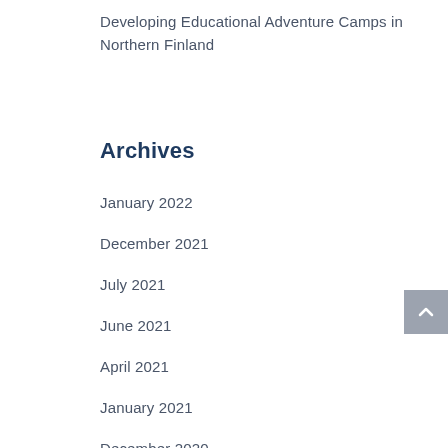Developing Educational Adventure Camps in Northern Finland
Archives
January 2022
December 2021
July 2021
June 2021
April 2021
January 2021
December 2020
June 2020